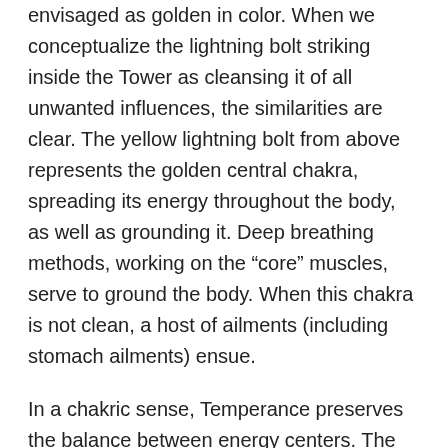envisaged as golden in color. When we conceptualize the lightning bolt striking inside the Tower as cleansing it of all unwanted influences, the similarities are clear. The yellow lightning bolt from above represents the golden central chakra, spreading its energy throughout the body, as well as grounding it. Deep breathing methods, working on the "core" muscles, serve to ground the body. When this chakra is not clean, a host of ailments (including stomach ailments) ensue.
In a chakric sense, Temperance preserves the balance between energy centers. The sign of the sun sits above her forehead. Light radiates from her, and from a distant source at the back of the picture. Whether it is a golden citadel or the sun itself we cannot tell, but it suggests a supportive spiritual force. Again we can draw parallels with the Tower. The crumbling